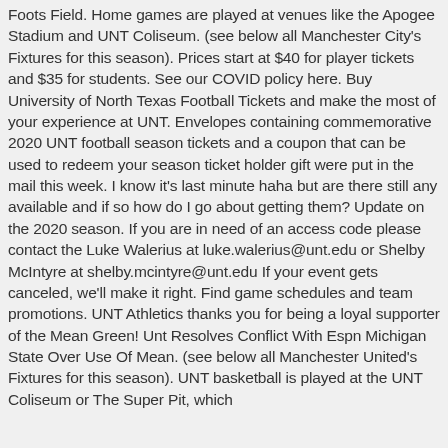Foots Field. Home games are played at venues like the Apogee Stadium and UNT Coliseum. (see below all Manchester City's Fixtures for this season). Prices start at $40 for player tickets and $35 for students. See our COVID policy here. Buy University of North Texas Football Tickets and make the most of your experience at UNT. Envelopes containing commemorative 2020 UNT football season tickets and a coupon that can be used to redeem your season ticket holder gift were put in the mail this week. I know it's last minute haha but are there still any available and if so how do I go about getting them? Update on the 2020 season. If you are in need of an access code please contact the Luke Walerius at luke.walerius@unt.edu or Shelby McIntyre at shelby.mcintyre@unt.edu If your event gets canceled, we'll make it right. Find game schedules and team promotions. UNT Athletics thanks you for being a loyal supporter of the Mean Green! Unt Resolves Conflict With Espn Michigan State Over Use Of Mean. (see below all Manchester United's Fixtures for this season). UNT basketball is played at the UNT Coliseum or The Super Pit, which